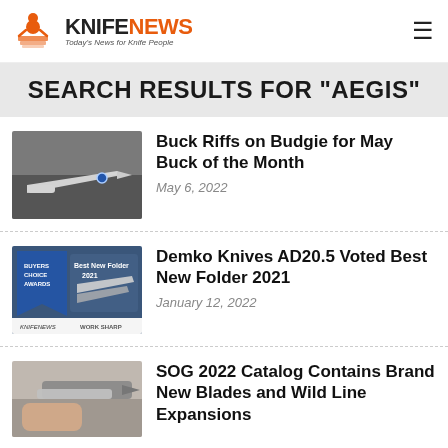KNIFENEWS — Today's News for Knife People
SEARCH RESULTS FOR "AEGIS"
[Figure (photo): Close-up photo of a white folding knife with a blue gemstone pivot, resting on a dark surface]
Buck Riffs on Budgie for May Buck of the Month
May 6, 2022
[Figure (photo): Award graphic showing Demko AD20.5 knife with 'Best New Folder 2021' banner, KnifeNews and Work Sharp logos]
Demko Knives AD20.5 Voted Best New Folder 2021
January 12, 2022
[Figure (photo): Hand holding a dark-bladed folding knife with silver handle against a light background]
SOG 2022 Catalog Contains Brand New Blades and Wild Line Expansions